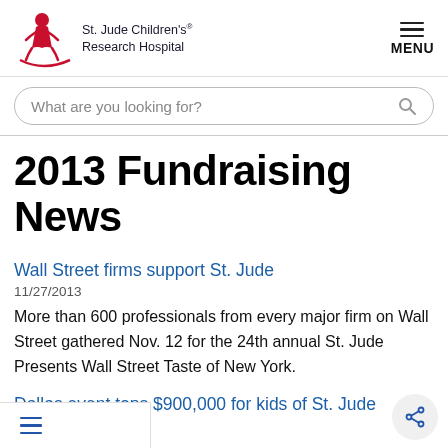St. Jude Children's Research Hospital — MENU
What are you looking for?
2013 Fundraising News
Wall Street firms support St. Jude
11/27/2013
More than 600 professionals from every major firm on Wall Street gathered Nov. 12 for the 24th annual St. Jude Presents Wall Street Taste of New York.
Dallas event tops $900,000 for kids of St. Jude
11/05/2013